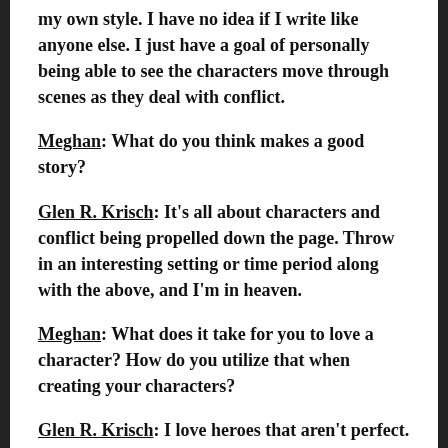my own style. I have no idea if I write like anyone else. I just have a goal of personally being able to see the characters move through scenes as they deal with conflict.
Meghan: What do you think makes a good story?
Glen R. Krisch: It's all about characters and conflict being propelled down the page. Throw in an interesting setting or time period along with the above, and I'm in heaven.
Meghan: What does it take for you to love a character? How do you utilize that when creating your characters?
Glen R. Krisch: I love heroes that aren't perfect. I love bad guys with hints of humanity. I love when the bad guy feels like what he's doing is the right thing to do. I